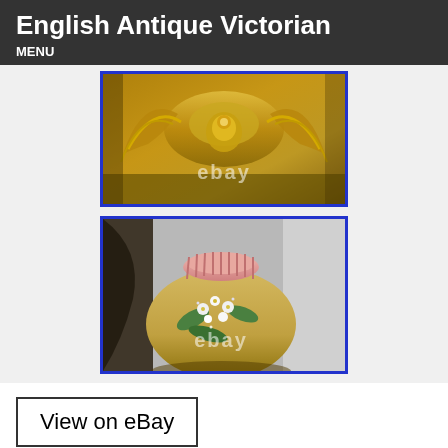English Antique Victorian
MENU
[Figure (photo): Close-up photo of ornate gilded Victorian decorative element with scrollwork, watermarked 'ebay']
[Figure (photo): Close-up photo of a Victorian decorative vase/lamp base with painted floral design on cream/tan ground, pink ribbed top, watermarked 'ebay']
View on eBay
WE PRIDE OURSELVES IN CUSTOMER SERVICE AND CARE. WE ESPECIALLY WANT TO THANK ALL OF OUR REPEAT